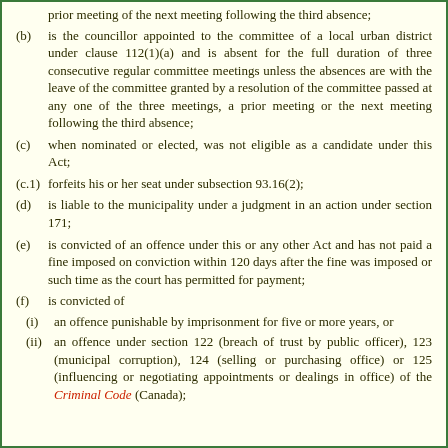prior meeting of the next meeting following the third absence;
(b) is the councillor appointed to the committee of a local urban district under clause 112(1)(a) and is absent for the full duration of three consecutive regular committee meetings unless the absences are with the leave of the committee granted by a resolution of the committee passed at any one of the three meetings, a prior meeting or the next meeting following the third absence;
(c) when nominated or elected, was not eligible as a candidate under this Act;
(c.1) forfeits his or her seat under subsection 93.16(2);
(d) is liable to the municipality under a judgment in an action under section 171;
(e) is convicted of an offence under this or any other Act and has not paid a fine imposed on conviction within 120 days after the fine was imposed or such time as the court has permitted for payment;
(f) is convicted of
(i) an offence punishable by imprisonment for five or more years, or
(ii) an offence under section 122 (breach of trust by public officer), 123 (municipal corruption), 124 (selling or purchasing office) or 125 (influencing or negotiating appointments or dealings in office) of the Criminal Code (Canada);